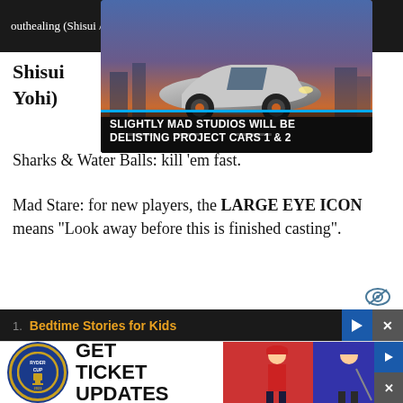outhealing (Shisui / Shisui Yohi)
[Figure (screenshot): Advertisement overlay showing a sports car with text 'SLIGHTLY MAD STUDIOS WILL BE DELISTING PROJECT CARS 1 & 2' with a close button]
Shisui (Shisui Yohi)
Sharks & Water Balls: kill ‘em fast.
Mad Stare: for new players, the LARGE EYE ICON means “Look away before this is finished casting”.
1. Bedtime Stories for Kids
[Figure (photo): Ryder Cup advertisement banner at bottom with golfers and 'GET TICKET UPDATES' text]